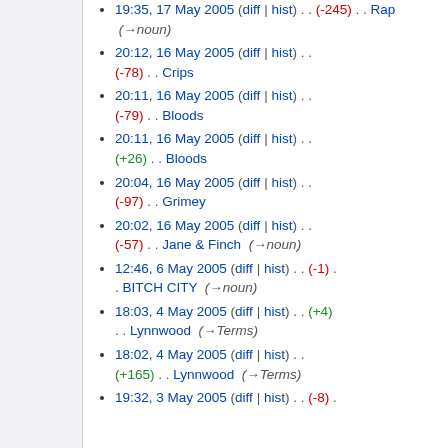19:35, 17 May 2005 (diff | hist) . . (-245) . . Rap (→noun)
20:12, 16 May 2005 (diff | hist) . . (-78) . . Crips
20:11, 16 May 2005 (diff | hist) . . (-79) . . Bloods
20:11, 16 May 2005 (diff | hist) . . (+26) . . Bloods
20:04, 16 May 2005 (diff | hist) . . (-97) . . Grimey
20:02, 16 May 2005 (diff | hist) . . (-57) . . Jane & Finch (→noun)
12:46, 6 May 2005 (diff | hist) . . (-1) . . BITCH CITY (→noun)
18:03, 4 May 2005 (diff | hist) . . (+4) . . Lynnwood (→Terms)
18:02, 4 May 2005 (diff | hist) . . (+165) . . Lynnwood (→Terms)
19:32, 3 May 2005 (diff | hist) . . (-8) . .